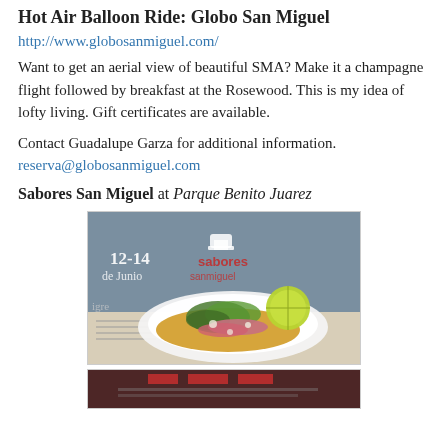Hot Air Balloon Ride: Globo San Miguel
http://www.globosanmiguel.com/
Want to get an aerial view of beautiful SMA? Make it a champagne flight followed by breakfast at the Rosewood. This is my idea of lofty living. Gift certificates are available.
Contact Guadalupe Garza for additional information.
reserva@globosanmiguel.com
Sabores San Miguel at Parque Benito Juarez
[Figure (photo): Photo of a taco on a white paper plate with toppings including greens and a lime wedge, on a newspaper background with '12-14 de Junio' text and Sabores San Miguel branding]
[Figure (photo): Partial photo at bottom of page, cropped]